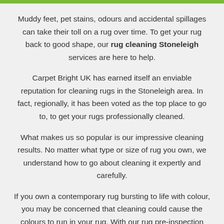Muddy feet, pet stains, odours and accidental spillages can take their toll on a rug over time. To get your rug back to good shape, our rug cleaning Stoneleigh services are here to help.
Carpet Bright UK has earned itself an enviable reputation for cleaning rugs in the Stoneleigh area. In fact, regionally, it has been voted as the top place to go to, to get your rugs professionally cleaned.
What makes us so popular is our impressive cleaning results. No matter what type or size of rug you own, we understand how to go about cleaning it expertly and carefully.
If you own a contemporary rug bursting to life with colour, you may be concerned that cleaning could cause the colours to run in your rug. With our rug pre-inspection and expert dye and pH testing services, we'll check the properties of your rug before cleaning begins, to see how the colours stand up to the cleaning process. We will then adapt the cleaning